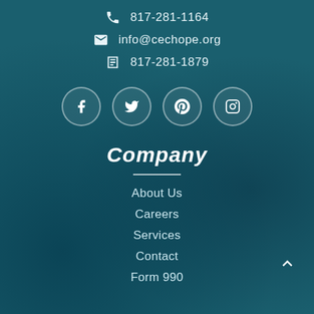817-281-1164
info@cechope.org
817-281-1879
[Figure (other): Social media icons: Facebook, Twitter, Pinterest, Instagram — white icons in circular outlined buttons]
Company
About Us
Careers
Services
Contact
Form 990